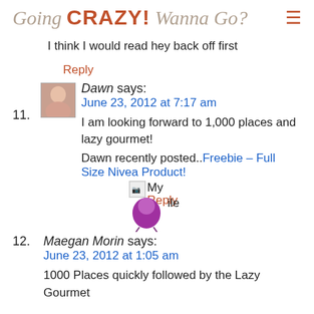Going CRAZY! Wanna Go?
I think I would read hey back off first
Reply
11. Dawn says:
June 23, 2012 at 7:17 am
I am looking forward to 1,000 places and lazy gourmet!

Dawn recently posted..Freebie – Full Size Nivea Product!
My Reply Profile
12. Maegan Morin says:
June 23, 2012 at 1:05 am
1000 Places quickly followed by the Lazy Gourmet